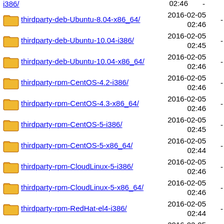i386/ 02:46 -
thirdparty-deb-Ubuntu-8.04-x86_64/ 2016-02-05 02:46 -
thirdparty-deb-Ubuntu-10.04-i386/ 2016-02-05 02:45 -
thirdparty-deb-Ubuntu-10.04-x86_64/ 2016-02-05 02:46 -
thirdparty-rpm-CentOS-4.2-i386/ 2016-02-05 02:46 -
thirdparty-rpm-CentOS-4.3-x86_64/ 2016-02-05 02:46 -
thirdparty-rpm-CentOS-5-i386/ 2016-02-05 02:45 -
thirdparty-rpm-CentOS-5-x86_64/ 2016-02-05 02:44 -
thirdparty-rpm-CloudLinux-5-i386/ 2016-02-05 02:46 -
thirdparty-rpm-CloudLinux-5-x86_64/ 2016-02-05 02:46 -
thirdparty-rpm-RedHat-el4-i386/ 2016-02-05 02:44 -
thirdparty-rpm-RedHat-el4-x86_64/ 2016-02-05 02:43 -